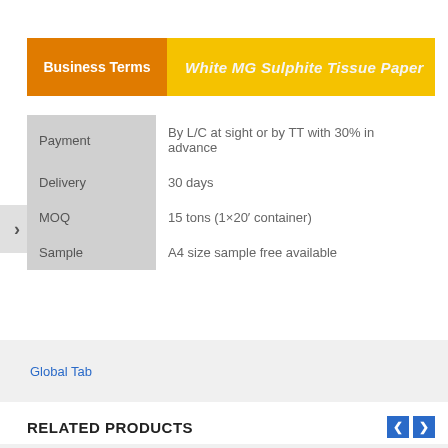Business Terms — White MG Sulphite Tissue Paper
|  |  |
| --- | --- |
| Payment | By L/C at sight or by TT with 30% in advance |
| Delivery | 30 days |
| MOQ | 15 tons (1×20′ container) |
| Sample | A4 size sample free available |
Global Tab
RELATED PRODUCTS